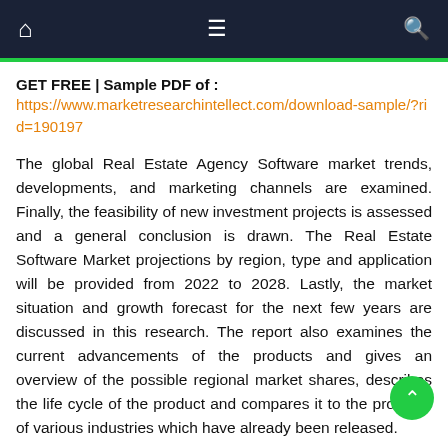Navigation bar with home, menu, and search icons
GET FREE | Sample PDF of : https://www.marketresearchintellect.com/download-sample/?rid=190197
The global Real Estate Agency Software market trends, developments, and marketing channels are examined. Finally, the feasibility of new investment projects is assessed and a general conclusion is drawn. The Real Estate Software Market projections by region, type and application will be provided from 2022 to 2028. Lastly, the market situation and growth forecast for the next few years are discussed in this research. The report also examines the current advancements of the products and gives an overview of the possible regional market shares, describes the life cycle of the product and compares it to the products of various industries which have already been released.